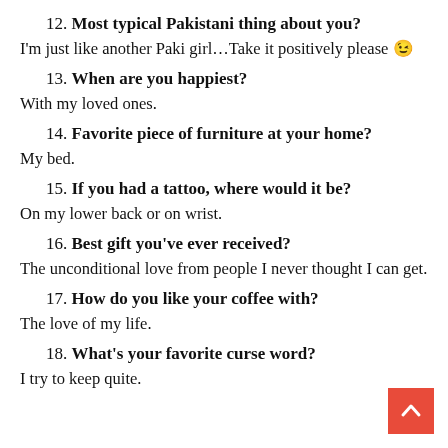12. Most typical Pakistani thing about you?
I'm just like another Paki girl…Take it positively please 😉
13. When are you happiest?
With my loved ones.
14. Favorite piece of furniture at your home?
My bed.
15. If you had a tattoo, where would it be?
On my lower back or on wrist.
16. Best gift you've ever received?
The unconditional love from people I never thought I can get.
17. How do you like your coffee with?
The love of my life.
18. What's your favorite curse word?
I try to keep quite.